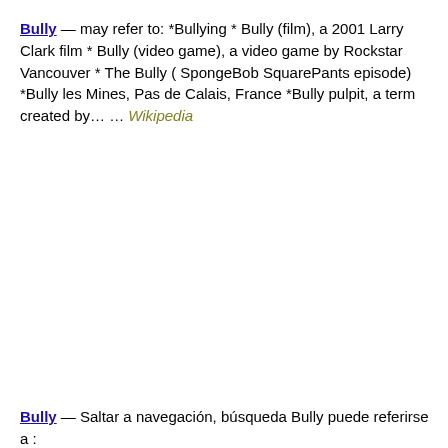Bully — may refer to: *Bullying * Bully (film), a 2001 Larry Clark film * Bully (video game), a video game by Rockstar Vancouver * The Bully ( SpongeBob SquarePants episode) *Bully les Mines, Pas de Calais, France *Bully pulpit, a term created by… … Wikipedia
Bully — Saltar a navegación, búsqueda Bully puede referirse a :